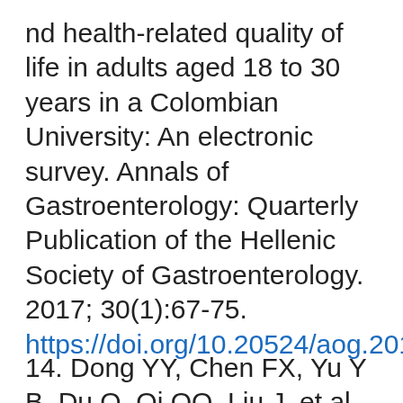nd health-related quality of life in adults aged 18 to 30 years in a Colombian University: An electronic survey. Annals of Gastroenterology: Quarterly Publication of the Hellenic Society of Gastroenterology. 2017; 30(1):67-75. https://doi.org/10.20524/aog.2016.0093
14. Dong YY, Chen FX, Yu Y B, Du Q, Qi QQ, Liu J, et al.